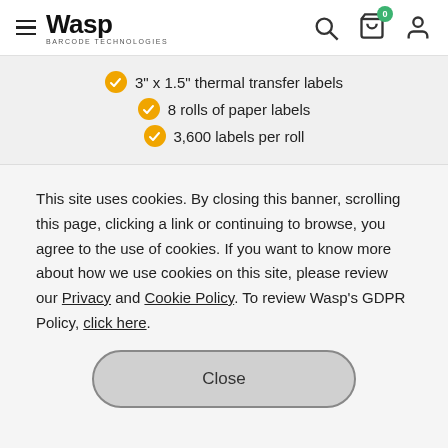Wasp Barcode Technologies
3" x 1.5" thermal transfer labels
8 rolls of paper labels
3,600 labels per roll
This site uses cookies. By closing this banner, scrolling this page, clicking a link or continuing to browse, you agree to the use of cookies. If you want to know more about how we use cookies on this site, please review our Privacy and Cookie Policy. To review Wasp's GDPR Policy, click here.